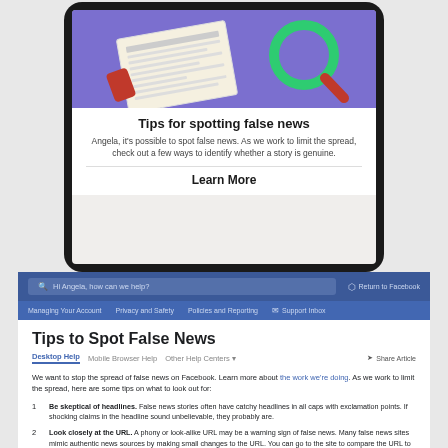[Figure (screenshot): Smartphone screen showing Facebook notification about tips for spotting false news, with purple header area containing newspaper/magnifying glass illustration, title 'Tips for spotting false news', body text addressing Angela, and a 'Learn More' button.]
[Figure (screenshot): Facebook Help Center webpage screenshot showing search bar with 'Hi Angela, how can we help?', navigation bar with Managing Your Account, Privacy and Safety, Policies and Reporting, Support Inbox, and article titled 'Tips to Spot False News' with tabs for Desktop Help, Mobile Browser Help, Other Help Centers, and Share Article option, followed by article body text and numbered list items.]
Tips to Spot False News
We want to stop the spread of false news on Facebook. Learn more about the work we're doing. As we work to limit the spread, here are some tips on what to look out for:
Be skeptical of headlines. False news stories often have catchy headlines in all caps with exclamation points. If shocking claims in the headline sound unbelievable, they probably are.
Look closely at the URL. A phony or look-alike URL may be a warning sign of false news. Many false news sites mimic authentic news sources by making small changes to the URL. You can go to the site to compare the URL to established sources.
Investigate the source. Ensure that the story is written by a source that you trust with a